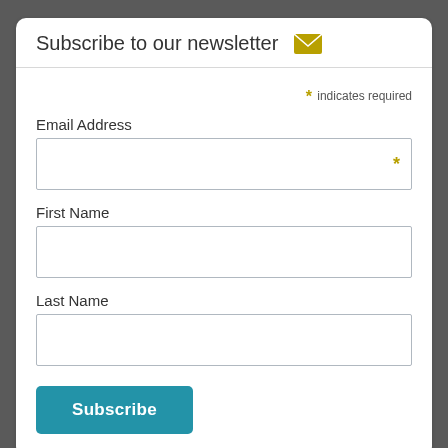Subscribe to our newsletter
* indicates required
Email Address
First Name
Last Name
Subscribe
Tweets from @alexswish